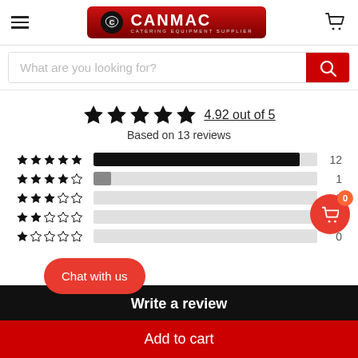[Figure (logo): CANMAC Catering Equipment Supplier logo on red background]
What are you looking for?
4.92 out of 5
Based on 13 reviews
[Figure (bar-chart): Star rating distribution]
Write a review
Add to cart
Chat with us